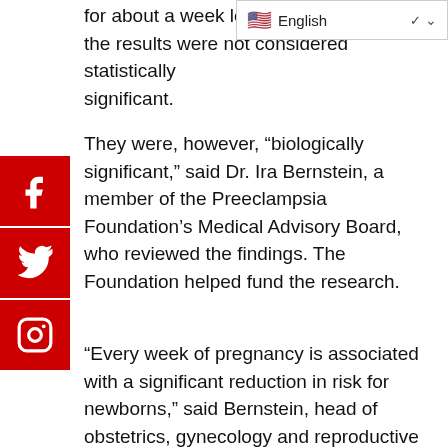for about a week longer than the results were not considered statistically significant.
[Figure (other): Language selector widget showing English with US flag and dropdown chevron]
[Figure (other): Social media icons sidebar: Facebook, Twitter, Instagram — red square buttons on left edge]
They were, however, “biologically significant,” said Dr. Ira Bernstein, a member of the Preeclampsia Foundation’s Medical Advisory Board, who reviewed the findings. The Foundation helped fund the research.
“Every week of pregnancy is associated with a significant reduction in risk for newborns,” said Bernstein, head of obstetrics, gynecology and reproductive sciences at the University of Vermont Larner College of Medicine, in Burlington.